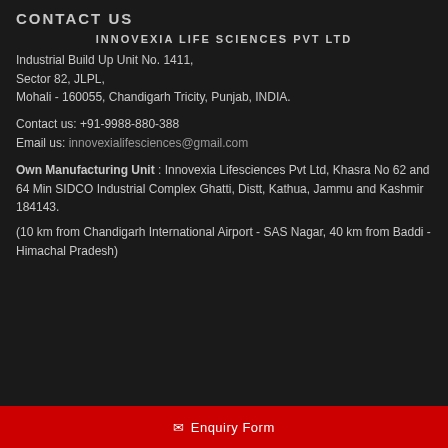CONTACT US
INNOVEXIA LIFE SCIENCES PVT LTD
Industrial Build Up Unit No. 1411,
Sector 82, JLPL,
Mohali - 160055, Chandigarh Tricity, Punjab, INDIA.
Contact us: +91-9988-880-388
Email us: innovexialifesciences@gmail.com
Own Manufacturing Unit : Innovexia Lifesciences Pvt Ltd, Khasra No 62 and 64 Min SIDCO Industrial Complex Ghatti, Distt, Kathua, Jammu and Kashmir 184143.
(10 km from Chandigarh International Airport - SAS Nagar, 40 km from Baddi - Himachal Pradesh)
Enquiry Form